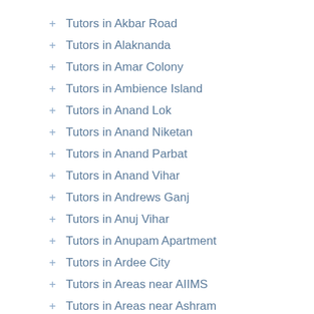+ Tutors in Akbar Road
+ Tutors in Alaknanda
+ Tutors in Amar Colony
+ Tutors in Ambience Island
+ Tutors in Anand Lok
+ Tutors in Anand Niketan
+ Tutors in Anand Parbat
+ Tutors in Anand Vihar
+ Tutors in Andrews Ganj
+ Tutors in Anuj Vihar
+ Tutors in Anupam Apartment
+ Tutors in Ardee City
+ Tutors in Areas near AIIMS
+ Tutors in Areas near Ashram